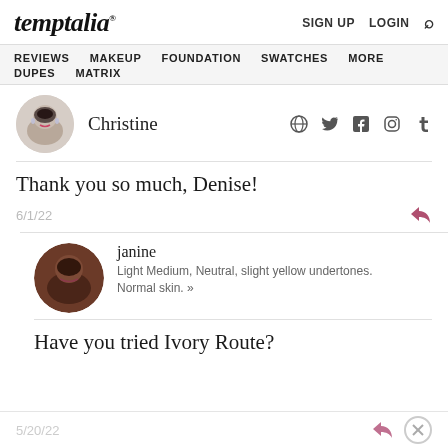temptalia® | SIGN UP  LOGIN  🔍
REVIEWS  MAKEUP  FOUNDATION  SWATCHES  MORE  DUPES  MATRIX
Christine
Thank you so much, Denise!
6/1/22
janine
Light Medium, Neutral, slight yellow undertones. Normal skin. »
Have you tried Ivory Route?
5/20/22